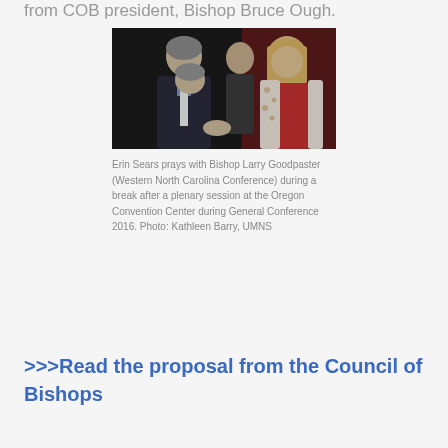from COB president, Bishop Bruce Ough.
[Figure (photo): Erin Sears prays with Bishop Larry Goodpaster (Western North Carolina Conference) during a break after a plenary session at the Oregon Convention Center during General Conference 2016. Photo: Kathleen Barry, UMNS]
Erin Sears prays with Bishop Larry Goodpaster (Western North Carolina Conference) during a break after a plenary session at the Oregon Convention Center during General Conference 2016. Photo: Kathleen Barry, UMNS
>>>Read the proposal from the Council of Bishops